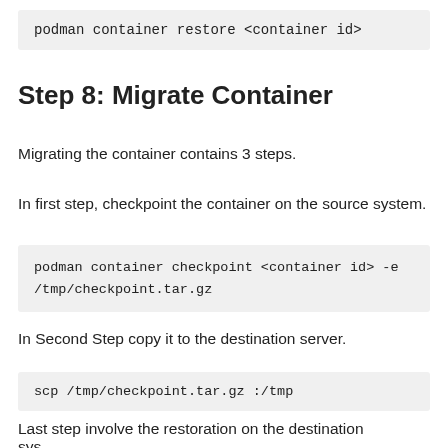podman container restore <container id>
Step 8: Migrate Container
Migrating the container contains 3 steps.
In first step, checkpoint the container on the source system.
podman container checkpoint <container id> -e /tmp/checkpoint.tar.gz
In Second Step copy it to the destination server.
scp /tmp/checkpoint.tar.gz :/tmp
Last step involve the restoration on the destination sys